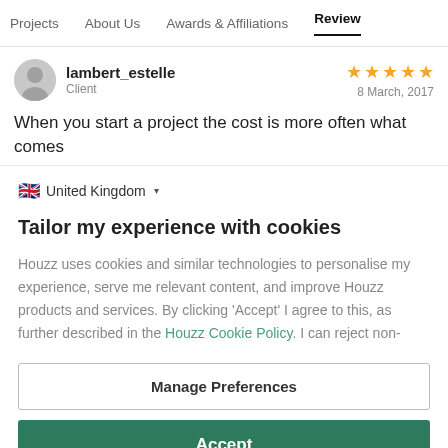Projects  About Us  Awards & Affiliations  Review
lambert_estelle
Client
★★★★★
8 March, 2017
When you start a project the cost is more often what comes
🇬🇧 United Kingdom ▾
Tailor my experience with cookies
Houzz uses cookies and similar technologies to personalise my experience, serve me relevant content, and improve Houzz products and services. By clicking 'Accept' I agree to this, as further described in the Houzz Cookie Policy. I can reject non-
Manage Preferences
Accept